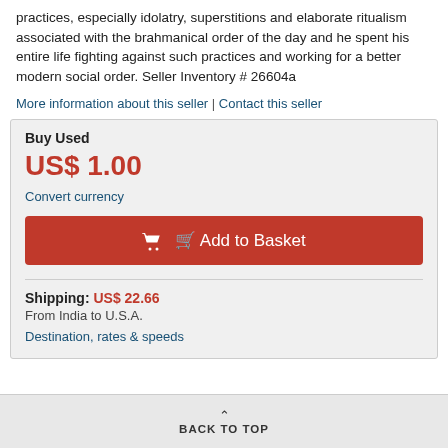practices, especially idolatry, superstitions and elaborate ritualism associated with the brahmanical order of the day and he spent his entire life fighting against such practices and working for a better modern social order. Seller Inventory # 26604a
More information about this seller | Contact this seller
Buy Used
US$ 1.00
Convert currency
Add to Basket
Shipping: US$ 22.66
From India to U.S.A.
Destination, rates & speeds
BACK TO TOP